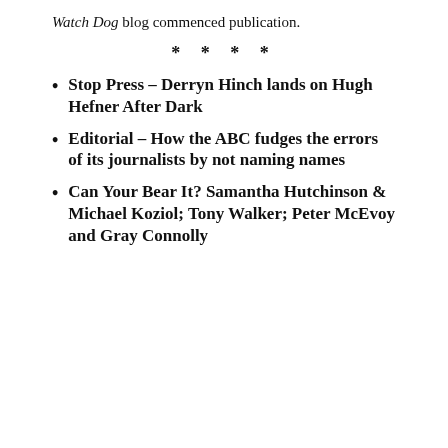Watch Dog blog commenced publication.
* * * *
Stop Press – Derryn Hinch lands on Hugh Hefner After Dark
Editorial – How the ABC fudges the errors of its journalists by not naming names
Can Your Bear It? Samantha Hutchinson & Michael Koziol; Tony Walker; Peter McEvoy and Gray Connolly